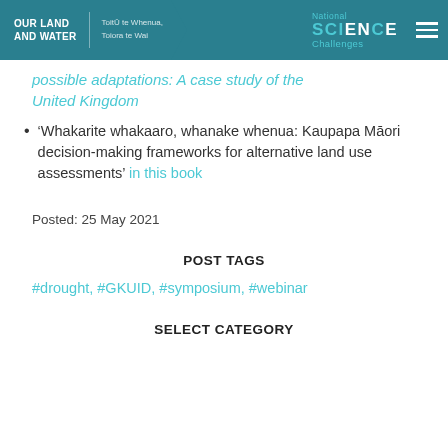OUR LAND AND WATER | Toitū te Whenua, Toiora te Wai | National Science Challenges
possible adaptations: A case study of the United Kingdom
'Whakarite whakaaro, whanake whenua: Kaupapa Māori decision-making frameworks for alternative land use assessments' in this book
Posted: 25 May 2021
POST TAGS
#drought, #GKUID, #symposium, #webinar
SELECT CATEGORY